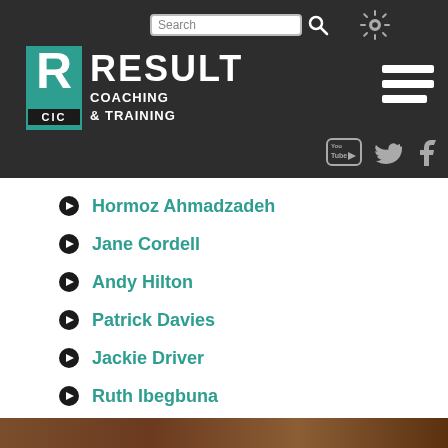[Figure (logo): Result Coaching & Training CIC logo with teal R box and white text]
Hormoz Ahmadzadeh
Jane Cordell
Andy Hilton
Patrick Davies
Jackie Driver
Ruth Ibegbuna
[Figure (photo): Brown/wood texture image at bottom of page]